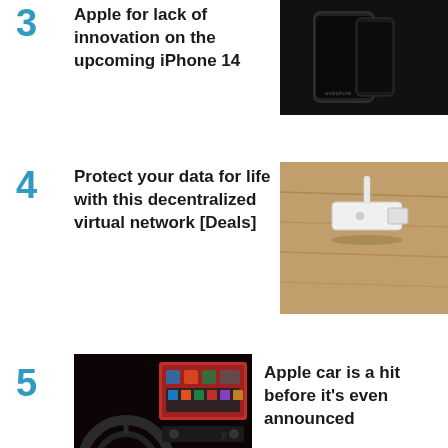3 Apple for lack of innovation on the upcoming iPhone 14
[Figure (photo): Dark smartphones on a dark background, overhead view]
4 Protect your data for life with this decentralized virtual network [Deals]
[Figure (photo): A white USB dongle device on a wooden table surface]
5 Apple car is a hit before it's even announced
[Figure (photo): Car interior dashboard with red infotainment screen and steering wheel]
x